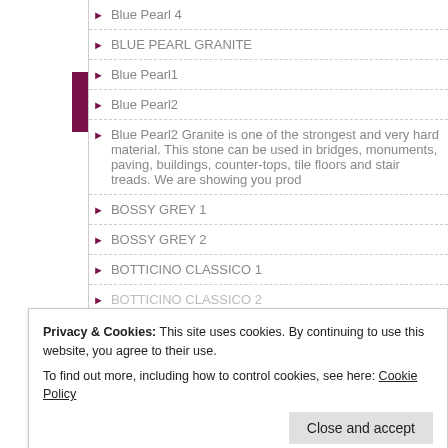Blue Pearl 4
BLUE PEARL GRANITE
Blue Pearl1
Blue Pearl2
Blue Pearl2 Granite is one of the strongest and very hard material. This stone can be used in bridges, monuments, paving, buildings, counter-tops, tile floors and stair treads. We are showing you prod
BOSSY GREY 1
BOSSY GREY 2
BOTTICINO CLASSICO 1
BOTTICINO CLASSICO 2
BRAZILIAN WHITE 2
Privacy & Cookies: This site uses cookies. By continuing to use this website, you agree to their use.
To find out more, including how to control cookies, see here: Cookie Policy
Close and accept